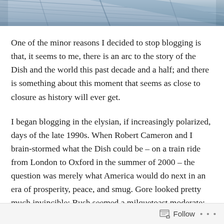[Figure (photo): Wooden plank background image, blue-grey tones, viewed from above at an angle, resembling a deck or fence]
One of the minor reasons I decided to stop blogging is that, it seems to me, there is an arc to the story of the Dish and the world this past decade and a half; and there is something about this moment that seems as close to closure as history will ever get.
I began blogging in the elysian, if increasingly polarized, days of the late 1990s. When Robert Cameron and I brain-stormed what the Dish could be – on a train ride from London to Oxford in the summer of 2000 – the question was merely what America would do next in an era of prosperity, peace, and smug. Gore looked pretty much invincible; Bush seemed a milquetoast moderate; and my most intense blogging was defending Gary Condit's right to be considered innocent before being proven guilty.
Follow •••